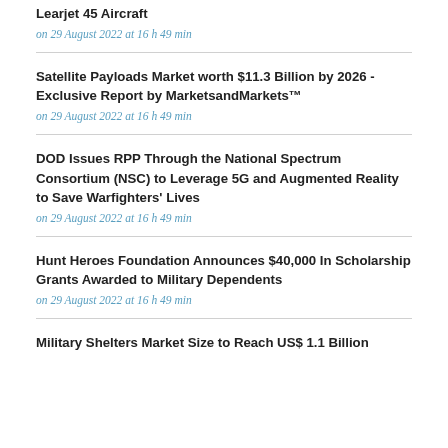Learjet 45 Aircraft
on 29 August 2022 at 16 h 49 min
Satellite Payloads Market worth $11.3 Billion by 2026 - Exclusive Report by MarketsandMarkets™
on 29 August 2022 at 16 h 49 min
DOD Issues RPP Through the National Spectrum Consortium (NSC) to Leverage 5G and Augmented Reality to Save Warfighters' Lives
on 29 August 2022 at 16 h 49 min
Hunt Heroes Foundation Announces $40,000 In Scholarship Grants Awarded to Military Dependents
on 29 August 2022 at 16 h 49 min
Military Shelters Market Size to Reach US$ 1.1 Billion